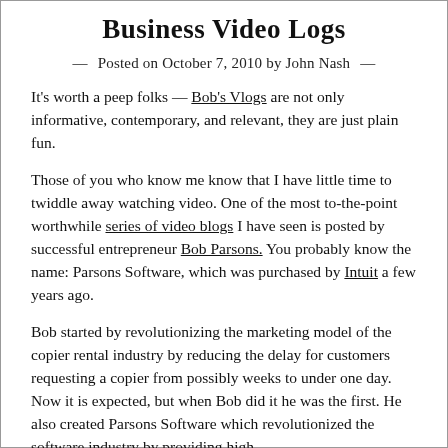Business Video Logs
— Posted on October 7, 2010 by John Nash —
It's worth a peep folks — Bob's Vlogs are not only informative, contemporary, and relevant, they are just plain fun.
Those of you who know me know that I have little time to twiddle away watching video. One of the most to-the-point worthwhile series of video blogs I have seen is posted by successful entrepreneur Bob Parsons. You probably know the name: Parsons Software, which was purchased by Intuit a few years ago.
Bob started by revolutionizing the marketing model of the copier rental industry by reducing the delay for customers requesting a copier from possibly weeks to under one day. Now it is expected, but when Bob did it he was the first. He also created Parsons Software which revolutionized the software industry by providing high